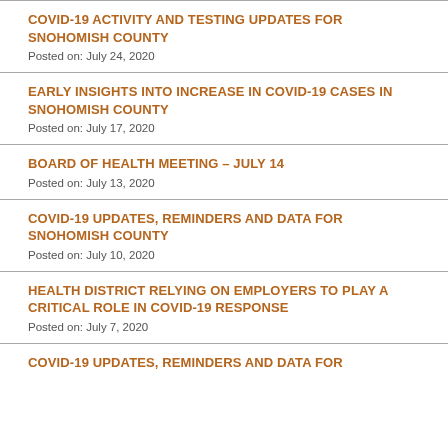COVID-19 ACTIVITY AND TESTING UPDATES FOR SNOHOMISH COUNTY
Posted on: July 24, 2020
EARLY INSIGHTS INTO INCREASE IN COVID-19 CASES IN SNOHOMISH COUNTY
Posted on: July 17, 2020
BOARD OF HEALTH MEETING – JULY 14
Posted on: July 13, 2020
COVID-19 UPDATES, REMINDERS AND DATA FOR SNOHOMISH COUNTY
Posted on: July 10, 2020
HEALTH DISTRICT RELYING ON EMPLOYERS TO PLAY A CRITICAL ROLE IN COVID-19 RESPONSE
Posted on: July 7, 2020
COVID-19 UPDATES, REMINDERS AND DATA FOR